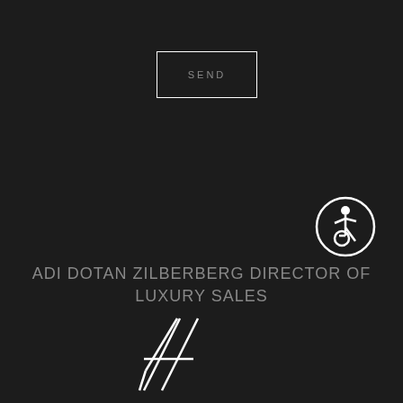[Figure (other): SEND button — rectangular outline box with text SEND in light gray on dark background]
[Figure (other): Accessibility icon — white circle with wheelchair user symbol inside]
ADI DOTAN ZILBERBERG DIRECTOR OF LUXURY SALES
[Figure (logo): Stylized logo mark — abstract geometric lines forming an A-like shape in white outline on dark background]